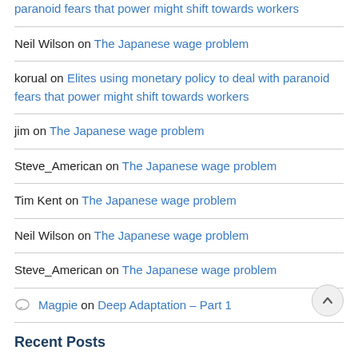paranoid fears that power might shift towards workers
Neil Wilson on The Japanese wage problem
korual on Elites using monetary policy to deal with paranoid fears that power might shift towards workers
jim on The Japanese wage problem
Steve_American on The Japanese wage problem
Tim Kent on The Japanese wage problem
Neil Wilson on The Japanese wage problem
Steve_American on The Japanese wage problem
Magpie on Deep Adaptation – Part 1
Recent Posts
Elites using monetary policy to deal with paranoid fears